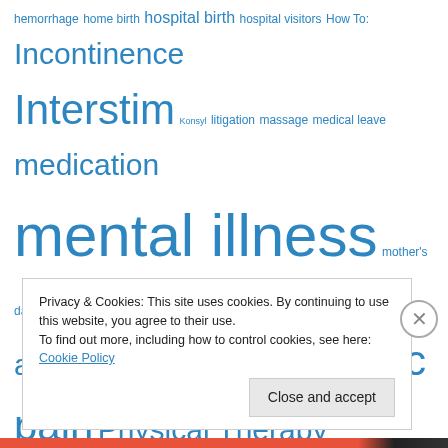hemorrhage home birth hospital birth hospital visitors How To: Incontinence Interstim Konsyl litigation massage medical leave medication mental illness mother's day nerve damage out-of-body panic attacks pelvic floor pelvic pain Physical Therapy Postpartum postpartum hemorrhage PTSD security system SPD sunny side up support system symphysis pubic dysfunction taboo Third Degree Tear
Privacy & Cookies: This site uses cookies. By continuing to use this website, you agree to their use. To find out more, including how to control cookies, see here: Cookie Policy
Close and accept